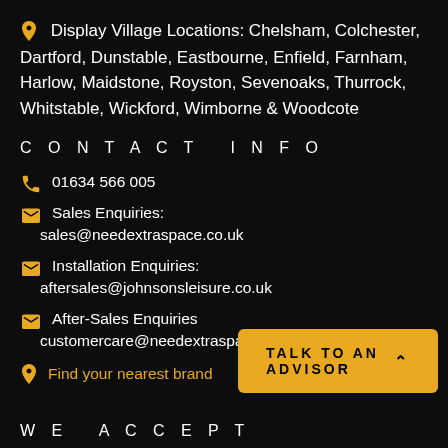Display Village Locations: Chelsham, Colchester, Dartford, Dunstable, Eastbourne, Enfield, Farnham, Harlow, Maidstone, Royston, Sevenoaks, Thurrock, Whitstable, Wickford, Wimborne & Woodcote
CONTACT INFO
01634 566 005
Sales Enquiries: sales@needextraspace.co.uk
Installation Enquiries: aftersales@johnsonsleisure.co.uk
After-Sales Enquiries customercare@needextraspace.co.uk
Find your nearest brand
TALK TO AN ADVISOR
WE ACCEPT